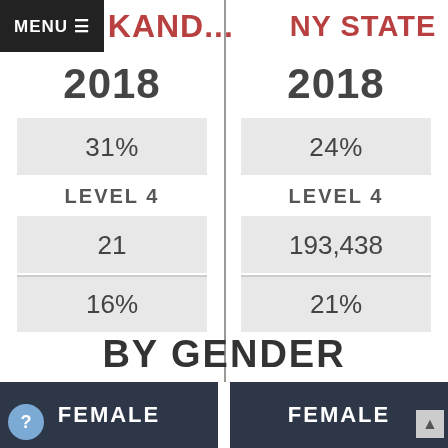MENU  ...AND...  |  NY STATE
2018
31%
LEVEL 4
21
16%
2018
24%
LEVEL 4
193,438
21%
BY GENDER
FEMALE
FEMALE